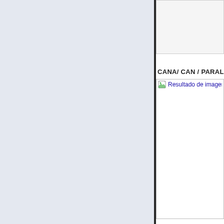[Figure (other): Left panel with light blue-gray background filling approximately two-thirds of the page width]
CANA/ CAN / PARALELO 33
[Figure (other): Image placeholder with broken image icon and link text 'Resultado de imagen para Pa...' in blue hyperlink style]